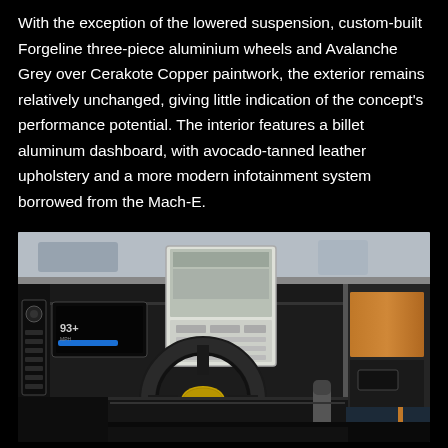With the exception of the lowered suspension, custom-built Forgeline three-piece aluminium wheels and Avalanche Grey over Cerakote Copper paintwork, the exterior remains relatively unchanged, giving little indication of the concept's performance potential. The interior features a billet aluminum dashboard, with avocado-tanned leather upholstery and a more modern infotainment system borrowed from the Mach-E.
[Figure (photo): Interior photo of a custom Ford Bronco concept vehicle showing the dashboard with a large center touchscreen (Mach-E infotainment), steering wheel with Ford logo, instrument cluster with blue bar display showing 93+, avocado-tanned leather and billet aluminum dashboard, tan/copper leather accents on door panel, and dark interior with modern center console.]